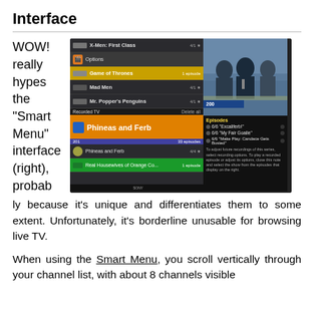Interface
[Figure (screenshot): TV screenshot showing a Smart Menu interface with recorded TV listings including Phineas and Ferb highlighted, Game of Thrones, Mad Men, Mr. Popper's Penguins, and other shows, with a sports broadcast visible in the top right]
WOW! really hypes the "Smart Menu" interface (right), probably because it's unique and differentiates them to some extent. Unfortunately, it's borderline unusable for browsing live TV.
When using the Smart Menu, you scroll vertically through your channel list, with about 8 channels visible